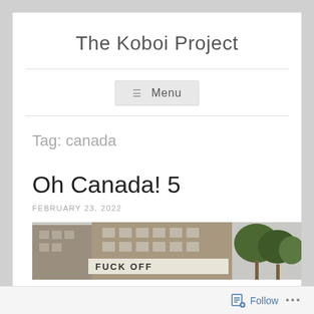The Koboi Project
≡ Menu
Tag: canada
Oh Canada! 5
FEBRUARY 23, 2022
[Figure (photo): Street-level photo showing a building facade with a banner reading 'FUCK OFF' partially visible, and trees on the right side.]
Follow